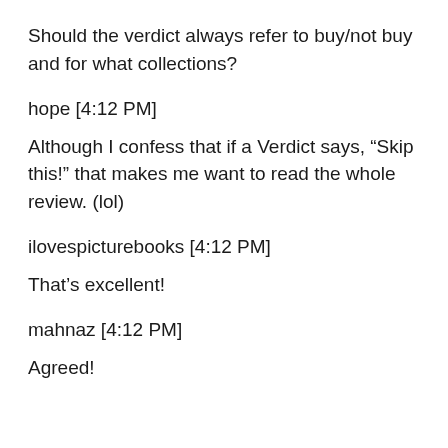Should the verdict always refer to buy/not buy and for what collections?
hope [4:12 PM]
Although I confess that if a Verdict says, “Skip this!” that makes me want to read the whole review. (lol)
ilovespicturebooks [4:12 PM]
That’s excellent!
mahnaz [4:12 PM]
Agreed!